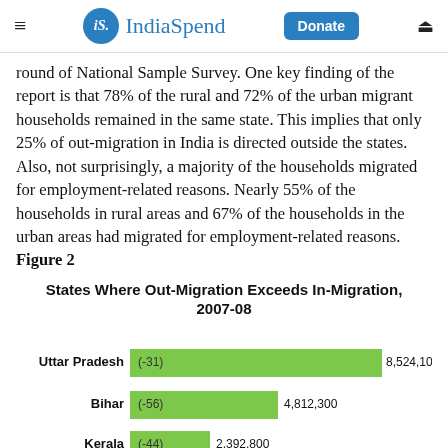IndiaSpend
round of National Sample Survey. One key finding of the report is that 78% of the rural and 72% of the urban migrant households remained in the same state. This implies that only 25% of out-migration in India is directed outside the states. Also, not surprisingly, a majority of the households migrated for employment-related reasons. Nearly 55% of the households in rural areas and 67% of the households in the urban areas had migrated for employment-related reasons. Figure 2
States Where Out-Migration Exceeds In-Migration, 2007-08
[Figure (bar-chart): States Where Out-Migration Exceeds In-Migration, 2007-08]